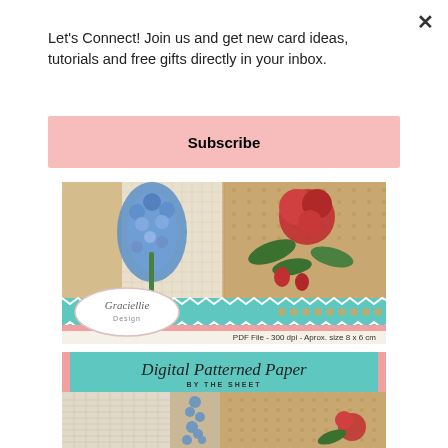× (close button)
Let's Connect! Join us and get new card ideas, tutorials and free gifts directly in your inbox.
Subscribe
[Figure (illustration): Graciellie Design banner showing floral digital art cards with blue and red flowers on vintage paper backgrounds. Teal and pink stripe with oval logo. Text: PDF File - 300 dpi - Aprox. size 8 x 6 cm]
[Figure (illustration): Digital Patterned Paper by the Sheet banner with teal header and vintage patterned paper samples showing grid paper, blue floral stripe, and dotted tan background]